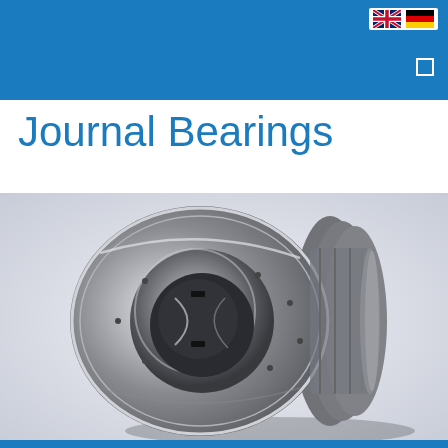Journal Bearings
[Figure (photo): A precision machined journal bearing, cylindrical in shape with multiple grooves and oil holes on the outer diameter, shown in a 3/4 perspective view on a light grey background. The bearing appears to be made of polished stainless steel or similar metal alloy.]